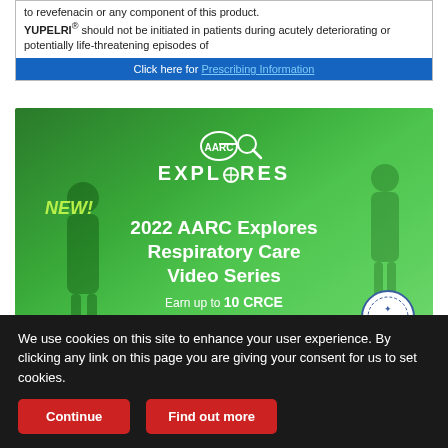to revefenacin or any component of this product. YUPELRI® should not be initiated in patients during acutely deteriorating or potentially life-threatening episodes of
Click here for Prescribing Information
[Figure (illustration): Green gradient advertisement banner for 2022 AARC Explores Respiratory Care Video Series. Shows NEW! badge, AARC Explores logo, bold white text reading '2022 AARC Explores Respiratory Care Video Series', 'Earn up to 10 CRCE', a 'PREVIEW NOW' button with oval border, CRCE certification badge, and silhouetted people in background.]
We use cookies on this site to enhance your user experience. By clicking any link on this page you are giving your consent for us to set cookies.
Continue
Find out more